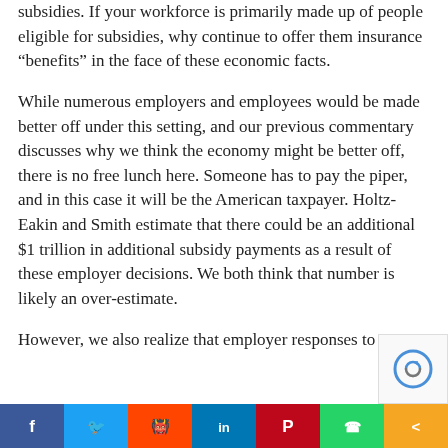subsidies. If your workforce is primarily made up of people eligible for subsidies, why continue to offer them insurance “benefits” in the face of these economic facts.
While numerous employers and employees would be made better off under this setting, and our previous commentary discusses why we think the economy might be better off, there is no free lunch here. Someone has to pay the piper, and in this case it will be the American taxpayer. Holtz-Eakin and Smith estimate that there could be an additional $1 trillion in additional subsidy payments as a result of these employer decisions. We both think that number is likely an over-estimate.
However, we also realize that employer responses to
[Figure (other): Social sharing bar with buttons: Facebook (f), Twitter (bird), Reddit (alien), LinkedIn (in), Pinterest (P), WhatsApp (phone), Share (<)]